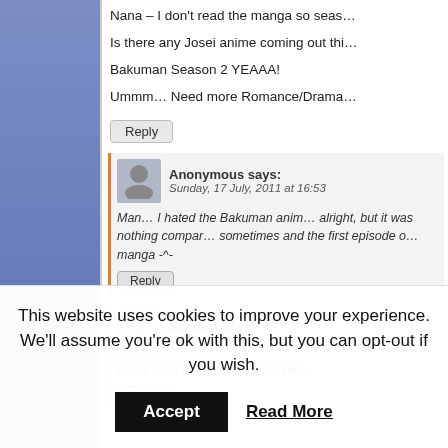Nana – I don't read the manga so seas…
Is there any Josei anime coming out thi…
Bakuman Season 2 YEAAA!
Ummm… Need more Romance/Drama…
Reply
Anonymous says: Sunday, 17 July, 2011 at 16:53
Man… I hated the Bakuman anim… alright, but it was nothing compar… sometimes and the first episode o… manga -^-
Reply
Scarletz says: Monday, 7 November, 2011 at…
I think Kimi ni todoke has comple…
Reply
This website uses cookies to improve your experience. We'll assume you're ok with this, but you can opt-out if you wish.
Accept
Read More